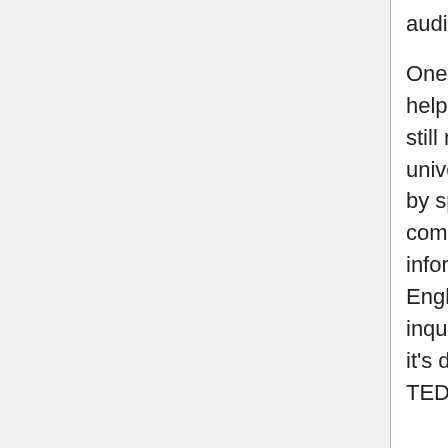audiences.
One of the biggest contributions that we feel OTP translators helped was that we helped thee TEDx event, an event format still mostly known by foreigners and small circles within universities, to be more widely exposed to the general public by spreading the words out in Thai. By having a communication channel in Thai, especially in a friendly informal tone, made it much more approachable by the non-English speaking audience. We received a number of inquiries about event venues, ticketing, livestreaming, etc. So it's definitely a sign that we were able to convert some of our TED translations followers into TEDx followers.